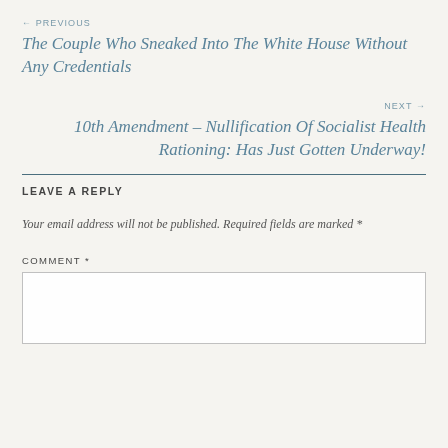← PREVIOUS
The Couple Who Sneaked Into The White House Without Any Credentials
NEXT →
10th Amendment – Nullification Of Socialist Health Rationing: Has Just Gotten Underway!
LEAVE A REPLY
Your email address will not be published. Required fields are marked *
COMMENT *